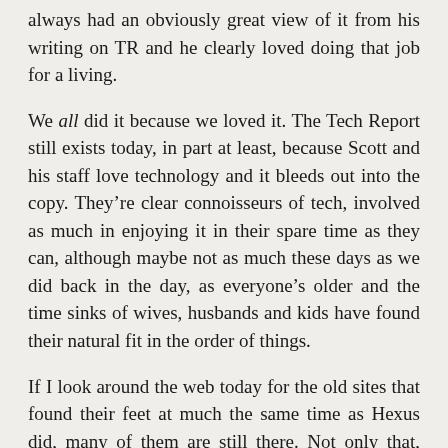always had an obviously great view of it from his writing on TR and he clearly loved doing that job for a living.
We all did it because we loved it. The Tech Report still exists today, in part at least, because Scott and his staff love technology and it bleeds out into the copy. They’re clear connoisseurs of tech, involved as much in enjoying it in their spare time as they can, although maybe not as much these days as we did back in the day, as everyone’s older and the time sinks of wives, husbands and kids have found their natural fit in the order of things.
If I look around the web today for the old sites that found their feet at much the same time as Hexus did, many of them are still there. Not only that, some of them are still run by the same founding teams! Anandtech is a bit different of course, and I’ll come back to them, but sites like Guru3D, Rage3D, Tweaktown, HardOCP, Hardware.fr, Bit-Tech and PC Perspective have all been around for well over a decade now.
Looking at their content, things have obviously evolved, but the